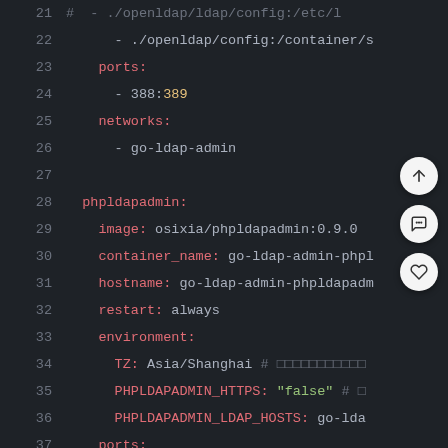[Figure (screenshot): Code editor screenshot showing Docker Compose YAML configuration, lines 21-40, with syntax highlighting on dark background. Shows openldap config volumes, ports (388:389), networks (go-ldap-admin), phpldapadmin service with image osixia/phpldapadmin:0.9.0, container_name, hostname, restart: always, environment variables including TZ: Asia/Shanghai, PHPLDAPADMIN_HTTPS: false, PHPLDAPADMIN_LDAP_HOSTS, ports 8090:80, and volumes section.]